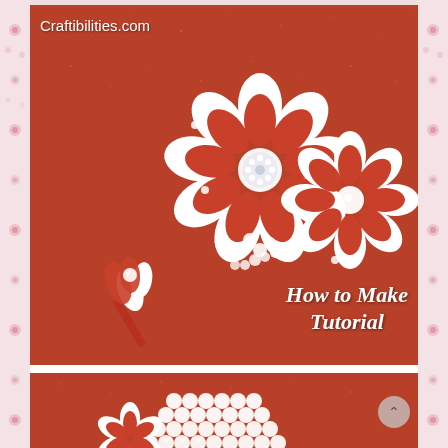[Figure (photo): Kanzashi fabric flowers made of red and white satin ribbon with pearl beads, against a red glitter background. Includes boutonniere-style flower corsage with pearl stem, and two layered kanzashi flowers with rhinestone center. Text overlay reads 'How to Make Tutorial' in white italic script.]
Craftibilities.com
How to Make Tutorial
[Figure (photo): Close-up of white pearl beaded embellishment with red and white kanzashi ribbon flower petals at bottom, on red glitter background.]